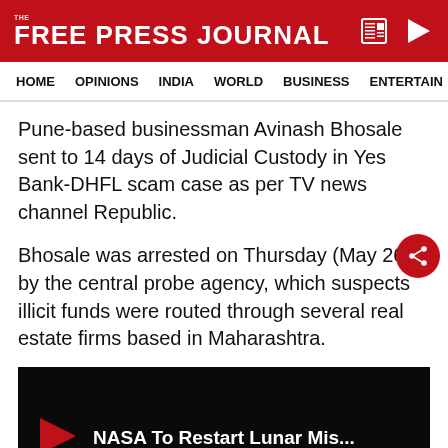THE FREE PRESS JOURNAL
HOME  OPINIONS  INDIA  WORLD  BUSINESS  ENTERTAIN
Pune-based businessman Avinash Bhosale sent to 14 days of Judicial Custody in Yes Bank-DHFL scam case as per TV news channel Republic.
Bhosale was arrested on Thursday (May 26) by the central probe agency, which suspects illicit funds were routed through several real estate firms based in Maharashtra.
[Figure (screenshot): Video player thumbnail showing 'NASA To Restart Lunar Mis...' with a red play button icon on a black background and a loading spinner at the bottom.]